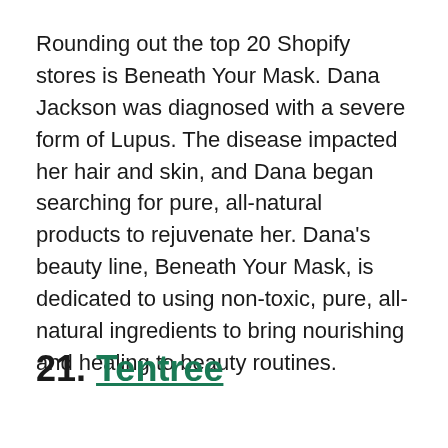Rounding out the top 20 Shopify stores is Beneath Your Mask. Dana Jackson was diagnosed with a severe form of Lupus. The disease impacted her hair and skin, and Dana began searching for pure, all-natural products to rejuvenate her. Dana's beauty line, Beneath Your Mask, is dedicated to using non-toxic, pure, all-natural ingredients to bring nourishing and healing to beauty routines.
21. Tentree